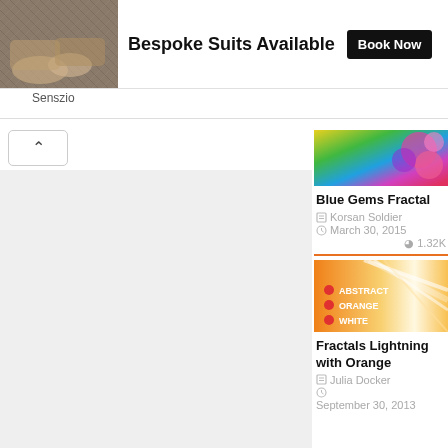[Figure (photo): Advertisement banner with photo of person with suit fabric and 'Book Now' button]
Senszio
[Figure (photo): Colorful abstract flowers photo thumbnail]
Blue Gems Fractal
Korsan Soldier
March 30, 2015
1.32K
[Figure (photo): Abstract orange and white lightning fractal image with text: ABSTRACT ORANGE WHITE]
Fractals Lightning with Orange
Julia Docker
September 30, 2013